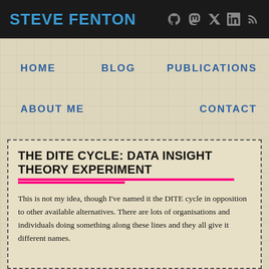STEVE FENTON
HOME   BLOG   PUBLICATIONS   ABOUT ME   CONTACT
THE DITE CYCLE: DATA INSIGHT THEORY EXPERIMENT
This is not my idea, though I've named it the DITE cycle in opposition to other available alternatives. There are lots of organisations and individuals doing something along these lines and they all give it different names. The common base of The Lean Startup, fly-by-...